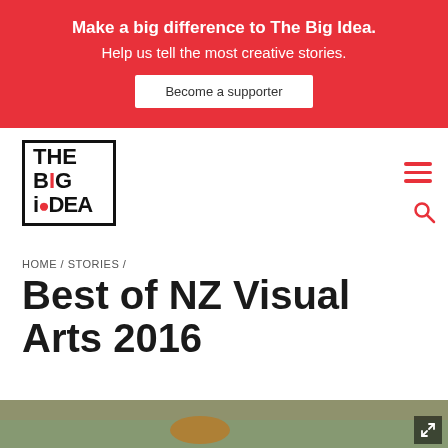Make a big difference to The Big Idea. Help us tell the most creative stories. Become a supporter
[Figure (logo): The Big Idea logo — black outlined box with bold text THE BIG iDEA, red dot on 'i']
HOME / STORIES /
Best of NZ Visual Arts 2016
[Figure (photo): Partial view of an outdoor photo showing water and an orange object, at the bottom of the page]